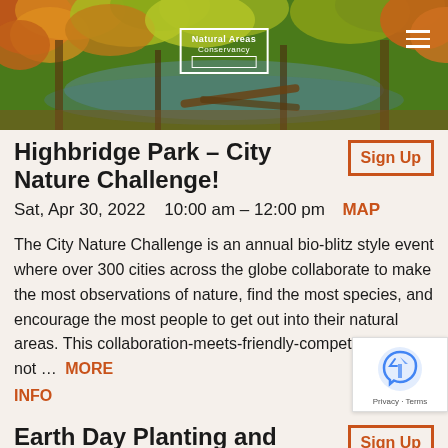[Figure (photo): Autumn foliage banner photo showing colorful fall trees over a waterway with logs, serving as website header background]
Natural Areas Conservancy
Highbridge Park – City Nature Challenge!
Sign Up
Sat, Apr 30, 2022    10:00 am – 12:00 pm   MAP
The City Nature Challenge is an annual bio-blitz style event where over 300 cities across the globe collaborate to make the most observations of nature, find the most species, and encourage the most people to get out into their natural areas. This collaboration-meets-friendly-competition shows not ...   MORE INFO
Earth Day Planting and
Sign Up